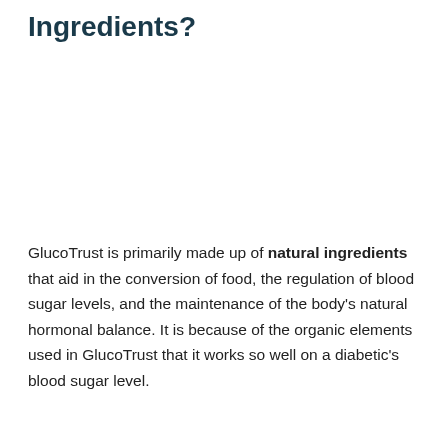Ingredients?
GlucoTrust is primarily made up of natural ingredients that aid in the conversion of food, the regulation of blood sugar levels, and the maintenance of the body's natural hormonal balance. It is because of the organic elements used in GlucoTrust that it works so well on a diabetic's blood sugar level.